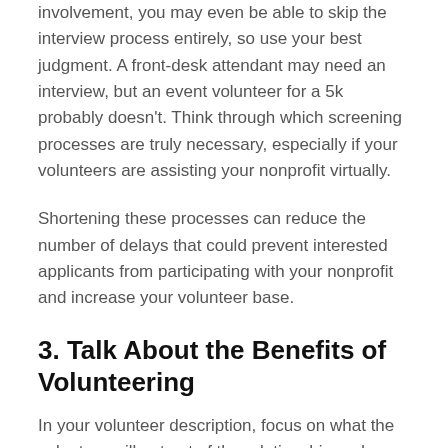involvement, you may even be able to skip the interview process entirely, so use your best judgment. A front-desk attendant may need an interview, but an event volunteer for a 5k probably doesn't. Think through which screening processes are truly necessary, especially if your volunteers are assisting your nonprofit virtually.
Shortening these processes can reduce the number of delays that could prevent interested applicants from participating with your nonprofit and increase your volunteer base.
3. Talk About the Benefits of Volunteering
In your volunteer description, focus on what the volunteer will get out of the relationship and include a few lines about how spending time with your nonprofit benefits your beneficiaries, your greater cause, your...